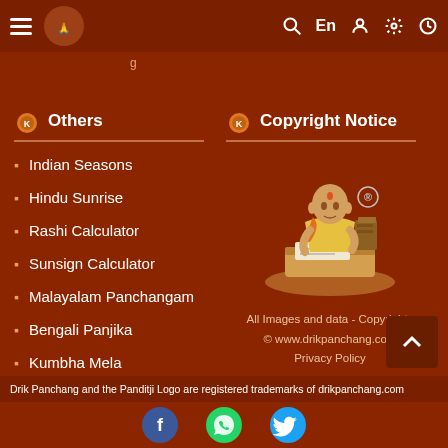Navigation bar with hamburger menu, logo, search, En, user, settings, clock icons
g...
Others
Indian Seasons
Hindu Sunrise
Rashi Calculator
Sunsign Calculator
Malayalam Panchangam
Bengali Panjika
Kumbha Mela
Copyright Notice
[Figure (illustration): Illustration of a Panditji (Hindu scholar) writing at a desk with a registered trademark symbol]
All Images and data - Copyrights © www.drikpanchang.com
Privacy Policy
Drik Panchang and the Panditji Logo are registered trademarks of drikpanchang.com
[Figure (other): Social media icons at the bottom of the page]